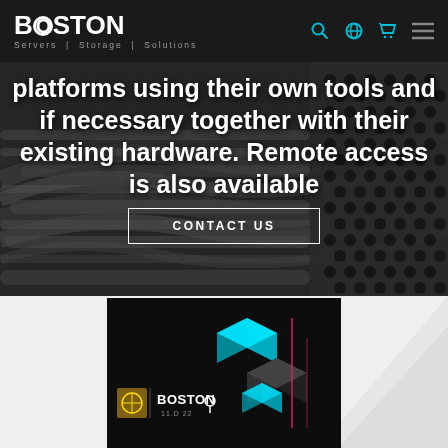Boston Servers | Storage | Solutions — navigation bar with logo and icons
platforms using their own tools and if necessary together with their existing hardware. Remote access is also available
CONTACT US
[Figure (photo): Dark background showing server rack cables and ventilation honeycomb panels]
[Figure (photo): Promotional banner showing Boston and Porsche partnership with 3D cube graphics and 'BOSTON 11.D 22' text on dark background]